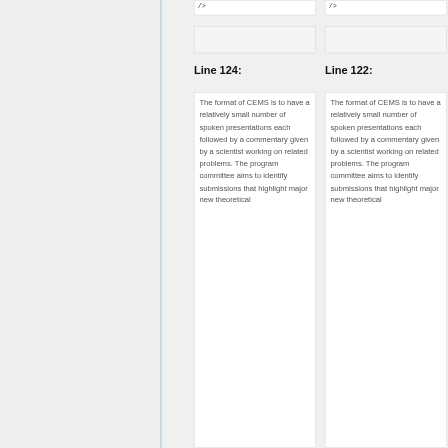/>
/>
Line 124:
Line 122:
The format of CEMS is to have a relatively small number of spoken presentations each followed by a commentary given by a scientist working on related problems.  The program committee aims to identify submissions that highlight major new theoretical
The format of CEMS is to have a relatively small number of spoken presentations each followed by a commentary given by a scientist working on related problems.  The program committee aims to identify submissions that highlight major new theoretical